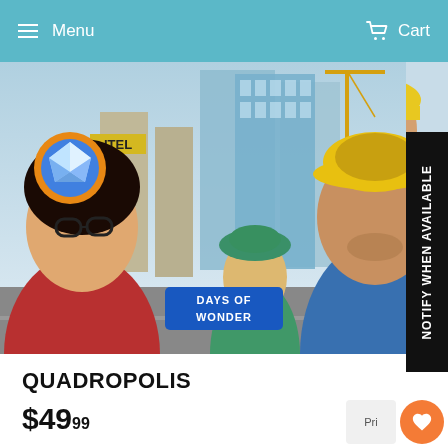Menu  Cart
[Figure (illustration): Game artwork for Quadropolis by Days of Wonder showing cartoon city scene with three characters: a woman with glasses and red coat, a blonde girl in a teal hat, and a man in a blue shirt with yellow hard hat. City skyline with skyscrapers and a hotel sign in the background. Days of Wonder logo visible. Blue gem/diamond icon in upper left corner.]
QUADROPOLIS
$49.99
Local Delivery calculated at checkout.
NOTIFY WHEN AVAILABLE